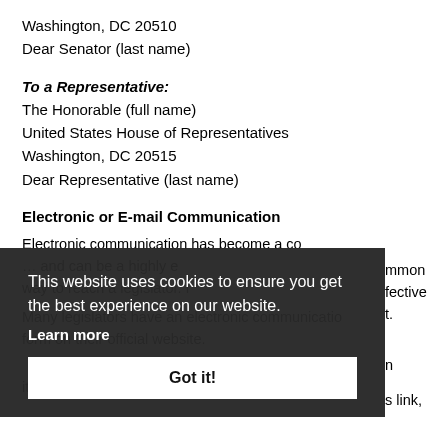Washington, DC 20510
Dear Senator (last name)
To a Representative:
The Honorable (full name)
United States House of Representatives
Washington, DC 20515
Dear Representative (last name)
Electronic or E-mail Communication
Electronic communication has become a common ... effective ... it.
Electronic communication ... n ... website.
contact section while ... link, it is more commonly a form to complete. Don't be